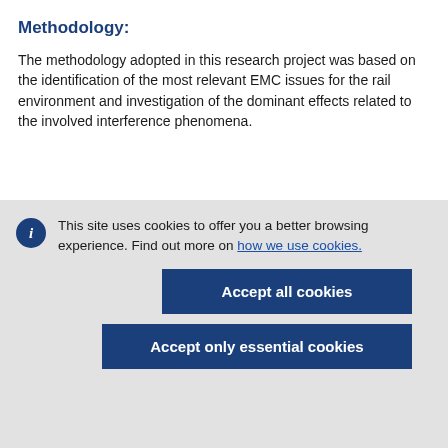Methodology:
The methodology adopted in this research project was based on the identification of the most relevant EMC issues for the rail environment and investigation of the dominant effects related to the involved interference phenomena.
This site uses cookies to offer you a better browsing experience. Find out more on how we use cookies.
Accept all cookies
Accept only essential cookies